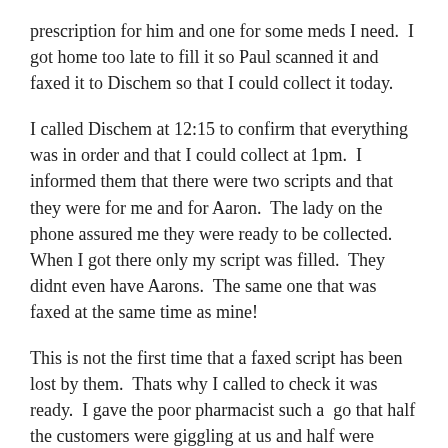prescription for him and one for some meds I need.  I got home too late to fill it so Paul scanned it and faxed it to Dischem so that I could collect it today.
I called Dischem at 12:15 to confirm that everything was in order and that I could collect at 1pm.  I informed them that there were two scripts and that they were for me and for Aaron.  The lady on the phone assured me they were ready to be collected.  When I got there only my script was filled.  They didnt even have Aarons.  The same one that was faxed at the same time as mine!
This is not the first time that a faxed script has been lost by them.  Thats why I called to check it was ready.  I gave the poor pharmacist such a  go that half the customers were giggling at us and half were backing away very slowly.